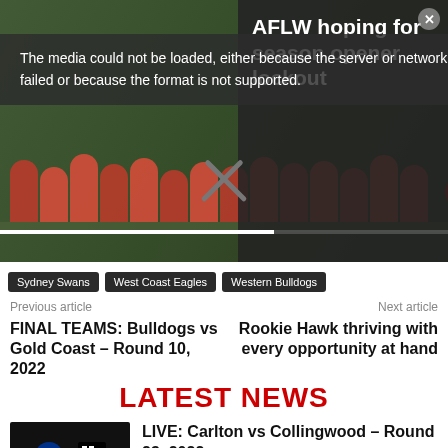[Figure (screenshot): Video player showing AFLW football players seated, with error message overlay and AFLW season opener article title]
The media could not be loaded, either because the server or network failed or because the format is not supported.
AFLW hoping for season opener lockout
Sydney Swans
West Coast Eagles
Western Bulldogs
Previous article
Next article
FINAL TEAMS: Bulldogs vs Gold Coast – Round 10, 2022
Rookie Hawk thriving with every opportunity at hand
LATEST NEWS
LIVE: Carlton vs Collingwood – Round 23, 2022